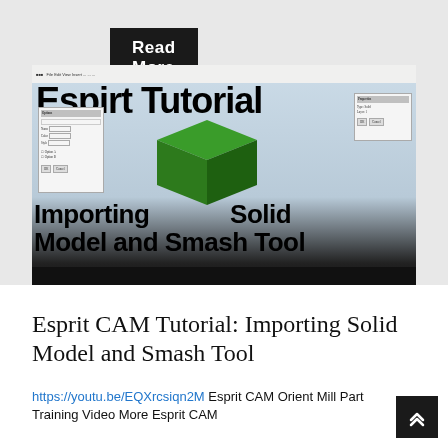Read More
[Figure (screenshot): Screenshot of Esprit CAM software showing tutorial: Espirt Tutorial - Importing Solid Model and Smash Tool, with a green 3D box model displayed on a blue background, dialog boxes visible, and taskbar at bottom]
Esprit CAM Tutorial: Importing Solid Model and Smash Tool
https://youtu.be/EQXrcsiqn2M Esprit CAM Orient Mill Part Training Video More Esprit CAM